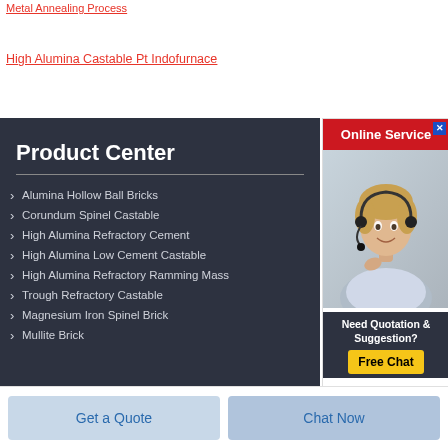Metal Annealing Process
High Alumina Castable Pt Indofurnace
Product Center
Alumina Hollow Ball Bricks
Corundum Spinel Castable
High Alumina Refractory Cement
High Alumina Low Cement Castable
High Alumina Refractory Ramming Mass
Trough Refractory Castable
Magnesium Iron Spinel Brick
Mullite Brick
[Figure (photo): Online Service widget with a customer service representative photo, red header reading 'Online Service', and a 'Need Quotation & Suggestion? Free Chat' call-to-action button]
Get a Quote
Chat Now